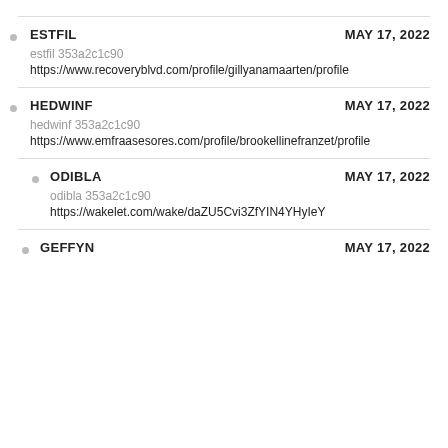estfil 353a2c1c90
https://www.recoveryblvd.com/profile/gillyanamaarten/profile
ESTFIL    MAY 17, 2022
HEDWINF    MAY 17, 2022
hedwinf 353a2c1c90
https://www.emfraasesores.com/profile/brookellinefranzet/profile
ODIBLA    MAY 17, 2022
odibla 353a2c1c90
https://wakelet.com/wake/daZU5Cvi3ZfYIN4YHyIeY
GEFFYN    MAY 17, 2022